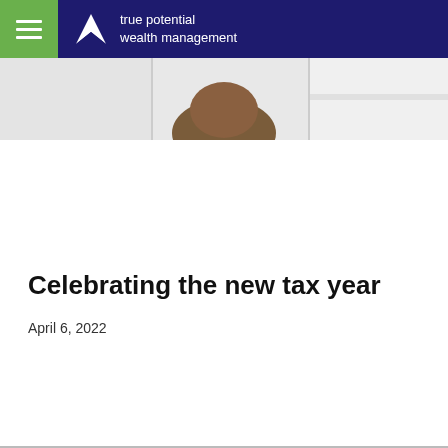true potential wealth management
[Figure (photo): Partial view of a person's head with brown hair against a light background, cropped hero image]
Celebrating the new tax year
April 6, 2022